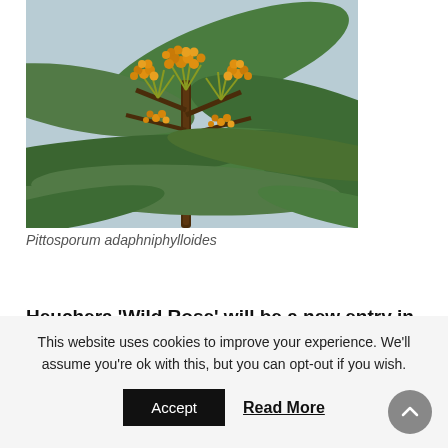[Figure (photo): Close-up photograph of Pittosporum adaphniphylloides plant with yellow-orange clustered buds and green leaves]
Pittosporum adaphniphylloides
Heuchera 'Wild Rose' will be a new entry in the 2021 catalogue.
This website uses cookies to improve your experience. We'll assume you're ok with this, but you can opt-out if you wish.
Accept
Read More